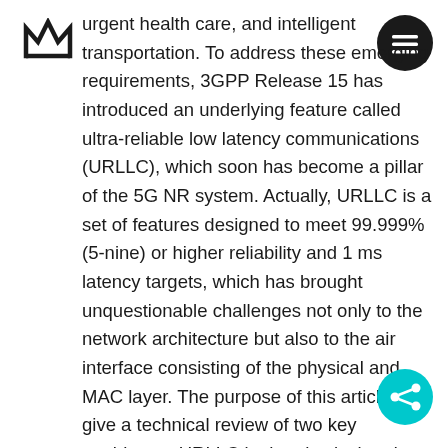[Figure (logo): Crown/hat logo icon in top-left corner]
[Figure (other): Dark circular menu button with three horizontal lines (hamburger menu) in top-right corner]
urgent health care, and intelligent transportation. To address these emerging requirements, 3GPP Release 15 has introduced an underlying feature called ultra-reliable low latency communications (URLLC), which soon has become a pillar of the 5G NR system. Actually, URLLC is a set of features designed to meet 99.999% (5-nine) or higher reliability and 1 ms latency targets, which has brought unquestionable challenges not only to the network architecture but also to the air interface consisting of the physical and MAC layer. The purpose of this article is to give a technical review of two key enablers to URLLC in the physical and MAC layer, one is the mini-slot frame structure and the other is
[Figure (other): Teal/cyan circular share button with share icon in bottom-right corner]